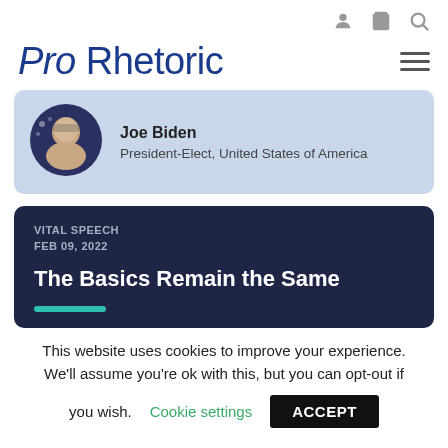[user icon] [cart icon] [search icon]
Pro Rhetoric
[Figure (photo): Circular headshot photo of Joe Biden]
Joe Biden
President-Elect, United States of America
VITAL SPEECH
FEB 09, 2022
The Basics Remain the Same
This website uses cookies to improve your experience. We'll assume you're ok with this, but you can opt-out if you wish. Cookie settings ACCEPT